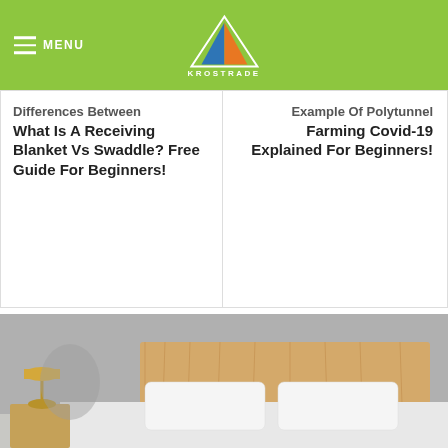MENU | KROSTRADE
Differences Between What Is A Receiving Blanket Vs Swaddle? Free Guide For Beginners!
Example Of Polytunnel Farming Covid-19 Explained For Beginners!
[Figure (photo): Bedroom photo showing a bed with white pillows and a light wood headboard, with a gold lamp on a nightstand, against a gray wall]